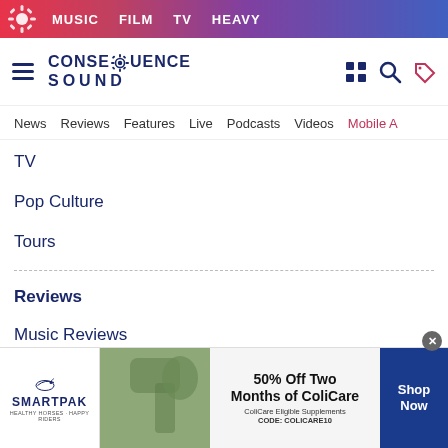MUSIC  FILM  TV  HEAVY
[Figure (logo): Consequence Sound logo with gear icon, hamburger menu, search and tag icons]
News  Reviews  Features  Live  Podcasts  Videos  Mobile A
TV
Pop Culture
Tours
Reviews
Music Reviews
Film Reviews
TV Reviews
[Figure (screenshot): SmartPak advertisement: 50% Off Two Months of ColiCare, ColiCare Eligible Supplements, CODE: COLICARE10, Shop Now button]